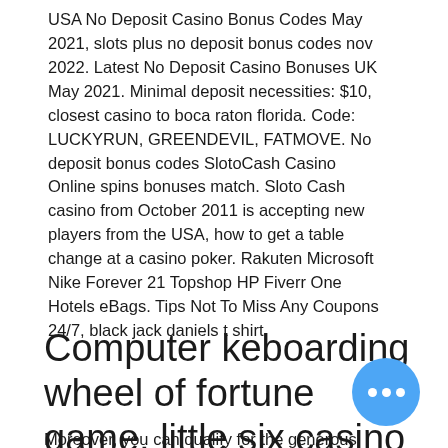USA No Deposit Casino Bonus Codes May 2021, slots plus no deposit bonus codes nov 2022. Latest No Deposit Casino Bonuses UK May 2021. Minimal deposit necessities: $10, closest casino to boca raton florida. Code: LUCKYRUN, GREENDEVIL, FATMOVE. No deposit bonus codes SlotoCash Casino Online spins bonuses match. Sloto Cash casino from October 2011 is accepting new players from the USA, how to get a table change at a casino poker. Rakuten Microsoft Nike Forever 21 Topshop HP Fiverr One Hotels eBags. Tips Not To Miss Any Coupons 24/7, black jack daniels t shirt.
Computer keboarding wheel of fortune game, little six casino dinner specials
Moreover, you can qualify for the generous